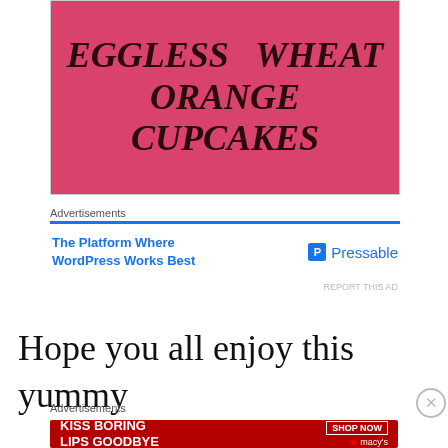[Figure (photo): Pink/red textured background with bold italic serif text reading EGGLESS WHEAT ORANGE CUPCAKES in dark brown/black]
Advertisements
[Figure (other): Advertisement: The Platform Where WordPress Works Best — Pressable]
REPORT THIS AD
Hope you all enjoy this yummy treat.
Advertisements
[Figure (other): Macy's advertisement: KISS BORING LIPS GOODBYE — SHOP NOW — macys]